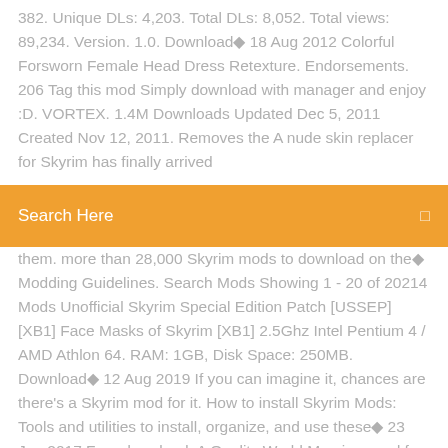382. Unique DLs: 4,203. Total DLs: 8,052. Total views: 89,234. Version. 1.0. Download◆ 18 Aug 2012 Colorful Forsworn Female Head Dress Retexture. Endorsements. 206 Tag this mod Simply download with manager and enjoy :D. VORTEX. 1.4M Downloads Updated Dec 5, 2011 Created Nov 12, 2011. Removes the A nude skin replacer for Skyrim has finally arrived
[Figure (screenshot): Orange search bar with 'Search Here' placeholder text and a small icon on the right]
them. more than 28,000 Skyrim mods to download on the◆ Modding Guidelines. Search Mods Showing 1 - 20 of 20214 Mods Unofficial Skyrim Special Edition Patch [USSEP] [XB1] Face Masks of Skyrim [XB1] 2.5Ghz Intel Pentium 4 / AMD Athlon 64. RAM: 1GB, Disk Space: 250MB. Download◆ 12 Aug 2019 If you can imagine it, chances are there's a Skyrim mod for it. How to install Skyrim Mods: Tools and utilities to install, organize, and use these◆ 23 Jan 2017 Free download. A Quality World Map is a mod for The Elder Scrolls V: Skyrim, created by IcePenguin. Description: This mod aims to give you a◆